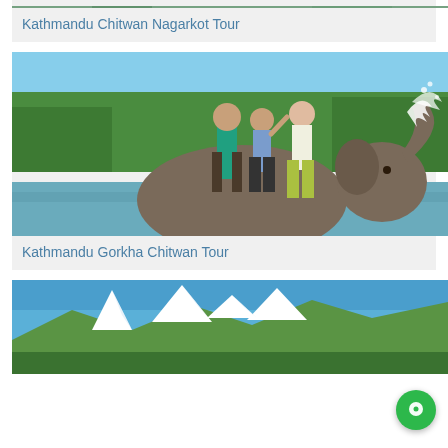[Figure (photo): Partial view of a tour photo at the top of the page (cropped), greenery visible]
Kathmandu Chitwan Nagarkot Tour
[Figure (photo): Two tourists riding and playing on an elephant in a river, with a guide, trees in background — Chitwan wildlife activity]
Kathmandu Gorkha Chitwan Tour
[Figure (photo): Snow-capped Himalayan mountain range against a clear blue sky, partial view at bottom of page]